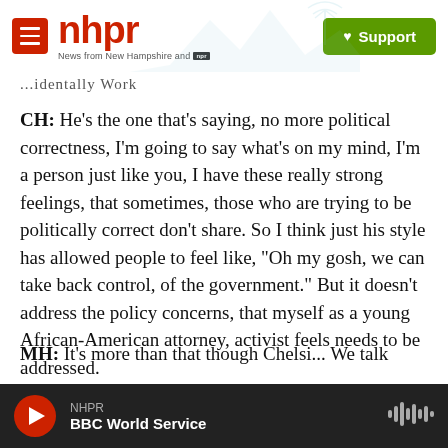nhpr — News from New Hampshire and NPR | Support
...identally Work
CH: He's the one that's saying, no more political correctness, I'm going to say what's on my mind, I'm a person just like you, I have these really strong feelings, that sometimes, those who are trying to be politically correct don't share. So I think just his style has allowed people to feel like, "Oh my gosh, we can take back control, of the government." But it doesn't address the policy concerns, that myself as a young African-American attorney, activist feels needs to be addressed.
MH: It's more than that though Chelsi... We talk
NHPR — BBC World Service